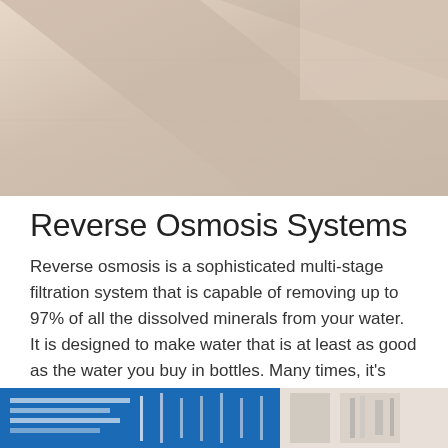[Figure (photo): Top portion of a photo showing a light beige/cream textured surface with diagonal shadows across it, cropped at bottom.]
Reverse Osmosis Systems
Reverse osmosis is a sophisticated multi-stage filtration system that is capable of removing up to 97% of all the dissolved minerals from your water. It is designed to make water that is at least as good as the water you buy in bottles. Many times, it's even better. This reduces waste in landfills by using less bottled water, making reverse ...
[Figure (photo): Bottom strip of a photo showing water filtration equipment/products.]